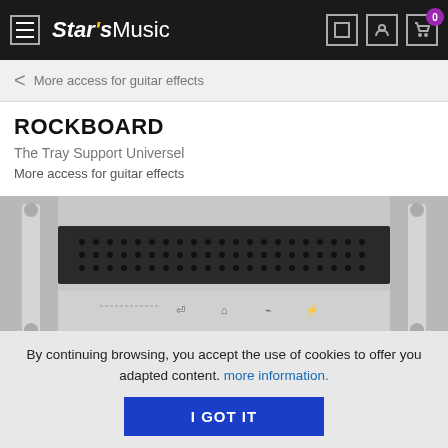Star's Music
More access for guitar effects
ROCKBOARD
The Tray Support Universel
More access for guitar effects
[Figure (photo): Rockboard tray support product — a dark perforated metal shelf mounted on a white pedalboard frame]
By continuing browsing, you accept the use of cookies to offer you adapted content. more information.
I GOT IT